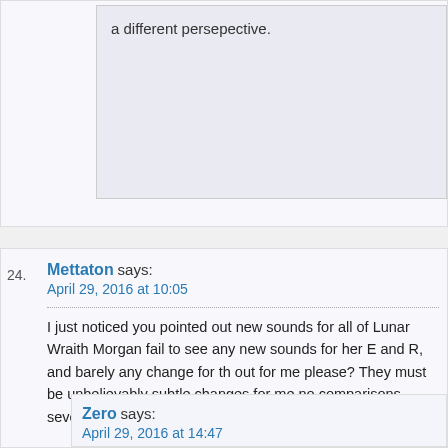a different persepective.
Mettaton says:
April 29, 2016 at 10:05
I just noticed you pointed out new sounds for all of Lunar Wraith Morgan fail to see any new sounds for her E and R, and barely any change for th out for me please? They must be unbelievably subtle changes for me no comparisons several times.
Zero says:
April 29, 2016 at 14:47
You're right, we can't seem to notice a clear difference except happened. We might've heard a slight change accross the abil as being a legacy skin it could affect the rating. In comparison more and while it's nice it's still not that different from Classic